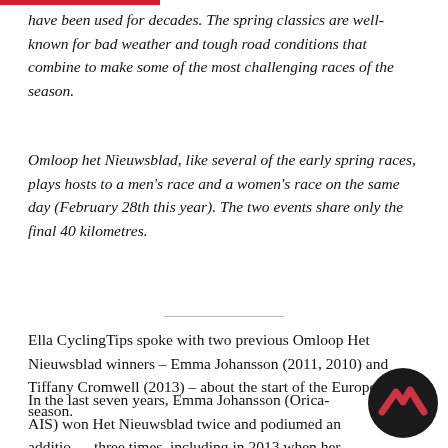have been used for decades. The spring classics are well-known for bad weather and tough road conditions that combine to make some of the most challenging races of the season.
Omloop het Nieuwsblad, like several of the early spring races, plays hosts to a men's race and a women's race on the same day (February 28th this year). The two events share only the final 40 kilometres.
Ella CyclingTips spoke with two previous Omloop Het Nieuwsblad winners – Emma Johansson (2011, 2010) and Tiffany Cromwell (2013) – about the start of the European season.
In the last seven years, Emma Johansson (Orica-AIS) won Het Nieuwsblad twice and podiumed an additional three times, including in 2013 when her then-teammate Tiffany Cromwell (Velocio-SRAM) took the win.
[Figure (logo): Circular dark logo with a red/pink mountain or chevron symbol, representing CyclingTips brand mark]